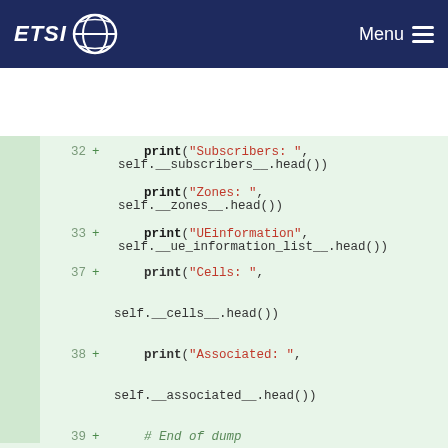ETSI Menu
[Figure (screenshot): Code diff view showing Python class methods with line numbers 32-42, green background indicating added lines, with print statements and a __to_accessPoint__ method definition]
32 + print("Subscribers: ", self.__subscribers__.head())
33 + print("Zones: ", self.__zones__.head())
34 + print("UEinformation", self.__ue_information_list__.head())
35 + print("AccessPoint: ", self.__access_point_list__.head())
36 + print("LocationInfo: ", self.__location_info__.head())
37 + print("Cells: ", self.__cells__.head())
38 + print("Associated: ", self.__associated__.head())
39 + # End of dump
40 +
41 + def __to_accessPoint__(self, p_access_point, p_location):
42 + """ Build an AccessPointLocation Json message.